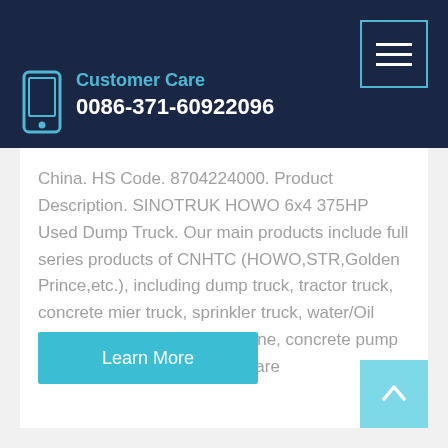Customer Care 0086-371-60922096
China. HS Code. 8704224000. Product Description. SINOTRUK HOWO 6x4 375HP Used Dump Truck. Our main products include full series products of CNHTC (HOWO,STR,Golden Prince,etc.), including dump truck, tractor truck, concrete mier truck, sprinkler truck, water/Oil tank truck, truck mounted crane, concrete pump truck.etc, bus, trailers and spare
Learn More